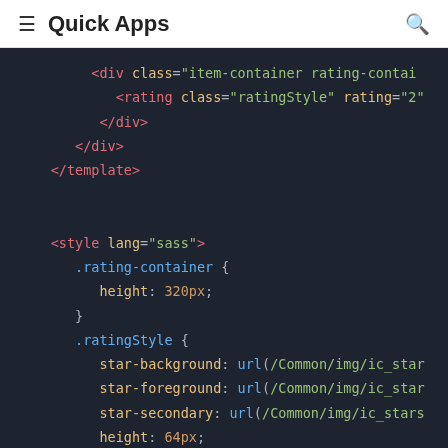≡  Quick Apps  🔍
[Figure (screenshot): Dark-themed code editor screenshot showing HTML template closing tags and a SASS style block with .rating-container and .ratingStyle CSS rules including height, star-background, star-foreground, star-secondary, and height properties.]